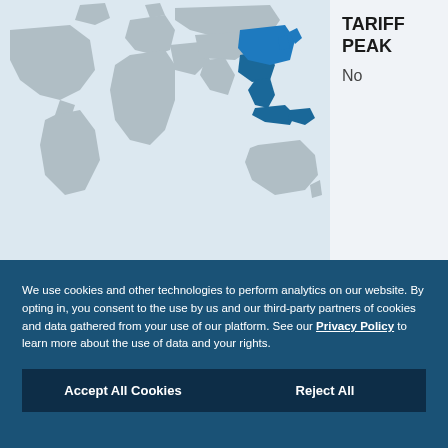[Figure (map): World map showing countries highlighted in blue, focused on East/Southeast Asia region including China, Japan, South Korea, and Southeast Asian nations. Other countries shown in grey on a light blue background.]
TARIFF PEAK
No
We use cookies and other technologies to perform analytics on our website. By opting in, you consent to the use by us and our third-party partners of cookies and data gathered from your use of our platform. See our Privacy Policy to learn more about the use of data and your rights.
Accept All Cookies
Reject All